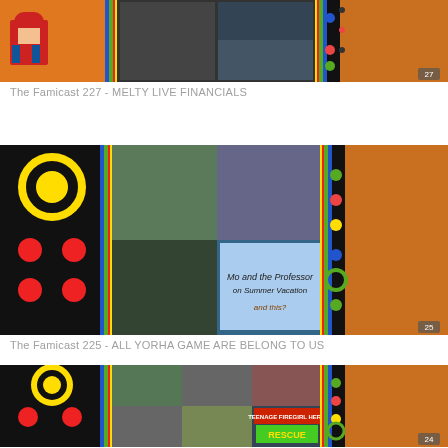[Figure (screenshot): The Famicast 227 podcast thumbnail showing Mario character and gaming imagery with colorful NES-themed stripes]
The Famicast 227 - MELTY LIVE FINANCIALS
[Figure (screenshot): The Famicast 225 podcast thumbnail showing podcast hosts webcam footage and game covers with NES-themed stripes]
The Famicast 225 - ALL YORHA GAME ARE BELONG TO US
[Figure (screenshot): The Famicast 224 podcast thumbnail showing multiple hosts webcam footage and Teenage Firegirl Hero Rescue game with NES-themed stripes]
The Famicast 224 - TEENAGE FIREGIRL HERO RESCUE